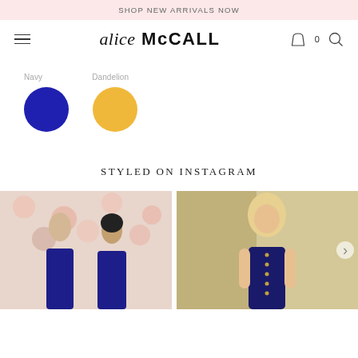SHOP NEW ARRIVALS NOW
[Figure (logo): alice McCALL fashion brand logo with hamburger menu, bag icon with 0, and search icon]
Navy
Dandelion
[Figure (illustration): Two color swatches: Navy (dark blue circle) and Dandelion (yellow circle)]
STYLED ON INSTAGRAM
[Figure (photo): Two women wearing navy blue dresses in front of floral wallpaper background]
[Figure (photo): Blonde woman wearing a navy button-front mini dress standing against a light stone wall]